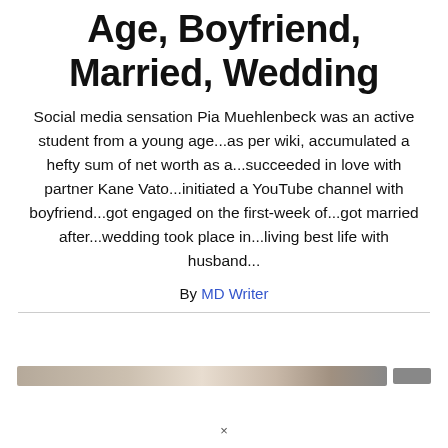Age, Boyfriend, Married, Wedding
Social media sensation Pia Muehlenbeck was an active student from a young age...as per wiki, accumulated a hefty sum of net worth as a...succeeded in love with partner Kane Vato...initiated a YouTube channel with boyfriend...got engaged on the first-week of...got married after...wedding took place in...living best life with husband...
By MD Writer
[Figure (photo): Partial photo strip showing cropped images, partially visible at the bottom of the page]